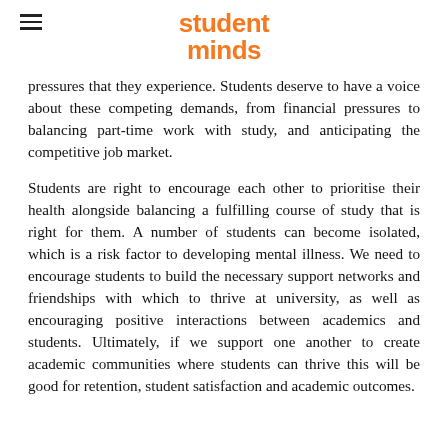student minds
pressures that they experience. Students deserve to have a voice about these competing demands, from financial pressures to balancing part-time work with study, and anticipating the competitive job market.
Students are right to encourage each other to prioritise their health alongside balancing a fulfilling course of study that is right for them. A number of students can become isolated, which is a risk factor to developing mental illness. We need to encourage students to build the necessary support networks and friendships with which to thrive at university, as well as encouraging positive interactions between academics and students. Ultimately, if we support one another to create academic communities where students can thrive this will be good for retention, student satisfaction and academic outcomes.